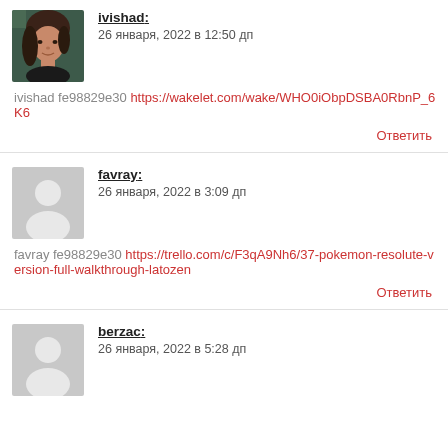[Figure (photo): User avatar photo of ivishad, a woman with brown hair against a dark background]
ivishad: 26 января, 2022 в 12:50 дп
ivishad fe98829e30 https://wakelet.com/wake/WHO0iObpDSBA0RbnP_6K6
Ответить
[Figure (illustration): Generic user avatar placeholder (grey silhouette) for favray]
favray: 26 января, 2022 в 3:09 дп
favray fe98829e30 https://trello.com/c/F3qA9Nh6/37-pokemon-resolute-version-full-walkthrough-latozen
Ответить
[Figure (illustration): Generic user avatar placeholder (grey silhouette) for berzac]
berzac: 26 января, 2022 в 5:28 дп